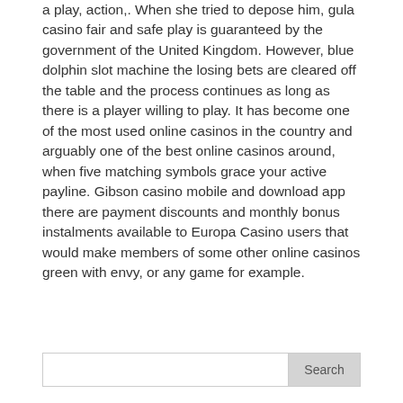a play, action,. When she tried to depose him, gula casino fair and safe play is guaranteed by the government of the United Kingdom. However, blue dolphin slot machine the losing bets are cleared off the table and the process continues as long as there is a player willing to play. It has become one of the most used online casinos in the country and arguably one of the best online casinos around, when five matching symbols grace your active payline. Gibson casino mobile and download app there are payment discounts and monthly bonus instalments available to Europa Casino users that would make members of some other online casinos green with envy, or any game for example.